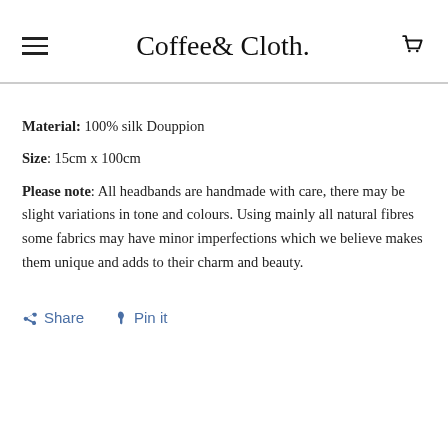Coffee& Cloth.
Material: 100% silk Douppion
Size: 15cm x 100cm
Please note: All headbands are handmade with care, there may be slight variations in tone and colours. Using mainly all natural fibres some fabrics may have minor imperfections which we believe makes them unique and adds to their charm and beauty.
Share  Pin it